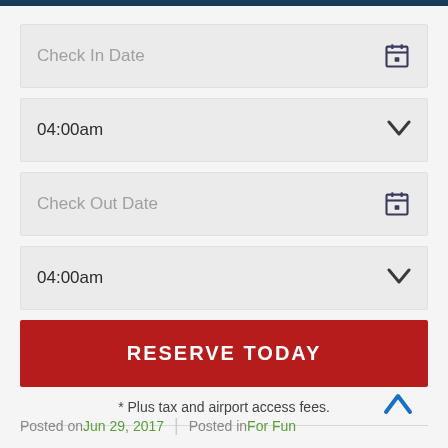[Figure (screenshot): UI form fields: Check In Date input with calendar icon, 04:00am dropdown, Check Out Date input with calendar icon, 04:00am dropdown]
RESERVE TODAY
* Plus tax and airport access fees.
Posted on Jun 29, 2017 | Posted in For Fun